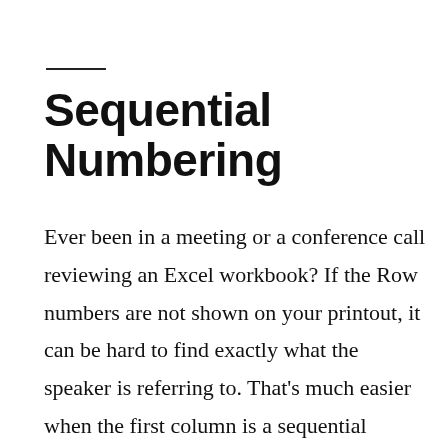Sequential Numbering
Ever been in a meeting or a conference call reviewing an Excel workbook? If the Row numbers are not shown on your printout, it can be hard to find exactly what the speaker is referring to. That’s much easier when the first column is a sequential number. Having each row identifiable by a unique number…